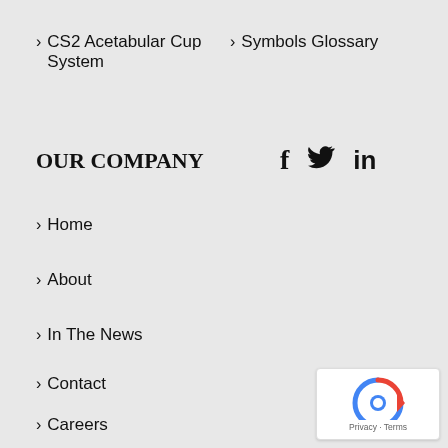> CS2 Acetabular Cup System
> Symbols Glossary
OUR COMPANY
[Figure (other): Social media icons: Facebook (f), Twitter (bird), LinkedIn (in)]
> Home
> About
> In The News
> Contact
> Careers
[Figure (other): Google reCAPTCHA badge with Privacy and Terms text]